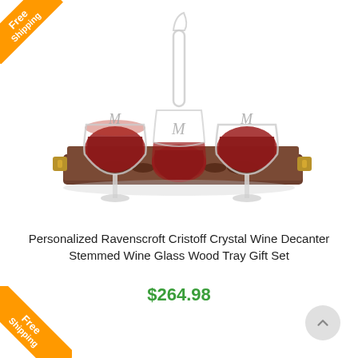[Figure (photo): Personalized Ravenscroft Cristoff Crystal Wine Decanter with two stemmed wine glasses filled with red wine, monogrammed with letter M, sitting on a dark wood tray with gold handles]
Personalized Ravenscroft Cristoff Crystal Wine Decanter Stemmed Wine Glass Wood Tray Gift Set
$264.98